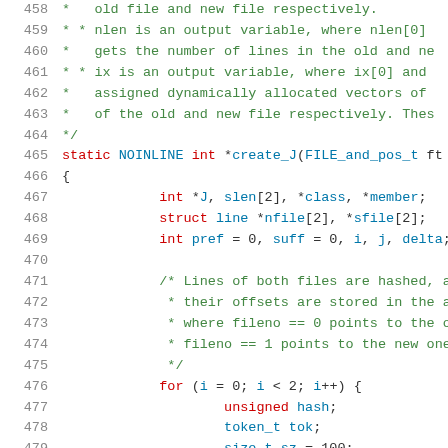[Figure (screenshot): Source code listing showing lines 458-479 of a C program. Line numbers in grey on the left, comments in green, keywords in dark red, identifiers in teal/blue on white background.]